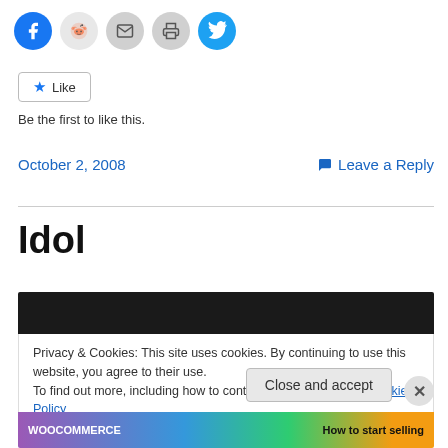[Figure (other): Row of social sharing icon buttons: Facebook (blue circle), Reddit (light grey circle), Email (grey circle), Print (grey circle), Twitter (cyan circle)]
Like
Be the first to like this.
October 2, 2008
Leave a Reply
Idol
[Figure (other): Dark black media player bar]
Privacy & Cookies: This site uses cookies. By continuing to use this website, you agree to their use.
To find out more, including how to control cookies, see here: Cookie Policy
Close and accept
[Figure (other): WooCommerce advertisement banner at the bottom: WooCommerce logo on colorful gradient background with text 'How to start selling']